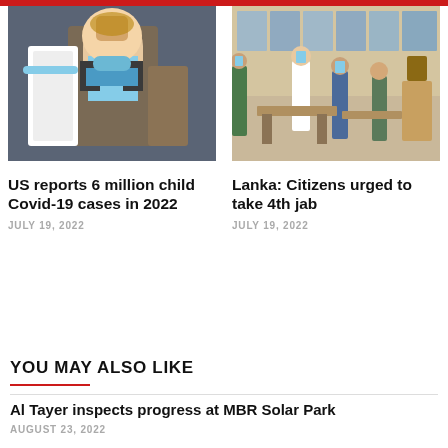[Figure (photo): Child and adult wearing face masks during a Covid-19 vaccination]
[Figure (photo): Healthcare workers and police in a vaccination center in Sri Lanka]
US reports 6 million child Covid-19 cases in 2022
JULY 19, 2022
Lanka: Citizens urged to take 4th jab
JULY 19, 2022
YOU MAY ALSO LIKE
Al Tayer inspects progress at MBR Solar Park
AUGUST 23, 2022